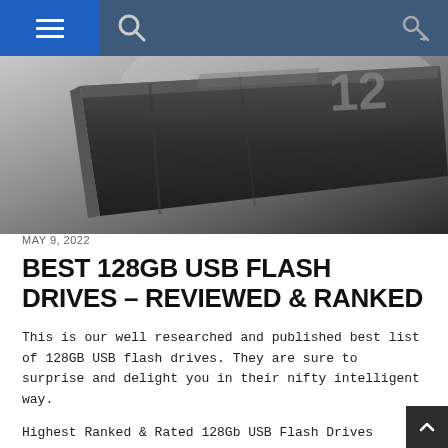Navigation bar with hamburger menu, search icon, and key icon
[Figure (photo): Close-up photo of a dark gray/black USB flash drive with the number '12' partially visible on its surface, shot at an angle against a light gray background]
MAY 9, 2022
BEST 128GB USB FLASH DRIVES – REVIEWED & RANKED
This is our well researched and published best list of 128GB USB flash drives. They are sure to surprise and delight you in their nifty intelligent way.
Highest Ranked & Rated 128Gb USB Flash Drives
The best 128GB USB flash drive is obviously the most technologically advanced and robust option that you'll rarely lose your data through any damage. The worst 128GB US flash drive is one that breaks